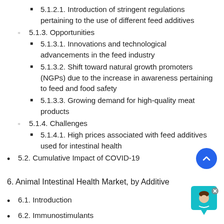5.1.2.1. Introduction of stringent regulations pertaining to the use of different feed additives
5.1.3. Opportunities
5.1.3.1. Innovations and technological advancements in the feed industry
5.1.3.2. Shift toward natural growth promoters (NGPs) due to the increase in awareness pertaining to feed and food safety
5.1.3.3. Growing demand for high-quality meat products
5.1.4. Challenges
5.1.4.1. High prices associated with feed additives used for intestinal health
5.2. Cumulative Impact of COVID-19
6. Animal Intestinal Health Market, by Additive
6.1. Introduction
6.2. Immunostimulants
6.3. Phytogenics